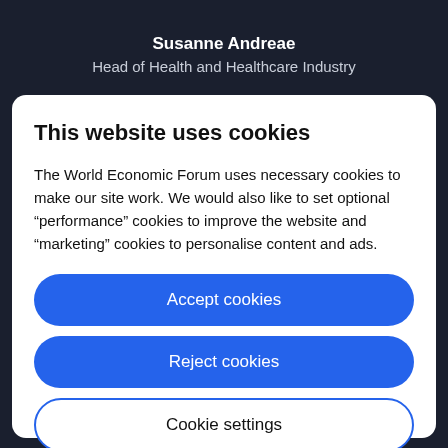Susanne Andreae
Head of Health and Healthcare Industry
This website uses cookies
The World Economic Forum uses necessary cookies to make our site work. We would also like to set optional “performance” cookies to improve the website and “marketing” cookies to personalise content and ads.
Accept cookies
Reject cookies
Cookie settings